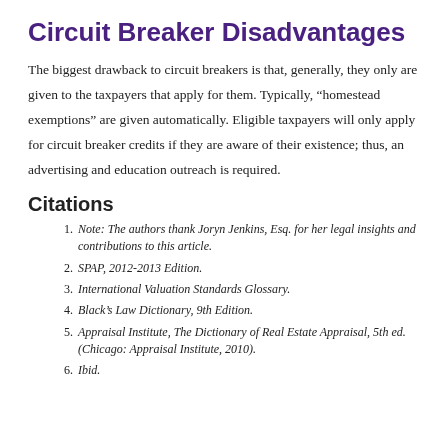Circuit Breaker Disadvantages
The biggest drawback to circuit breakers is that, generally, they only are given to the taxpayers that apply for them. Typically, “homestead exemptions” are given automatically. Eligible taxpayers will only apply for circuit breaker credits if they are aware of their existence; thus, an advertising and education outreach is required.
Citations
Note: The authors thank Joryn Jenkins, Esq. for her legal insights and contributions to this article.
SPAP, 2012-2013 Edition.
International Valuation Standards Glossary.
Black’s Law Dictionary, 9th Edition.
Appraisal Institute, The Dictionary of Real Estate Appraisal, 5th ed. (Chicago: Appraisal Institute, 2010).
Ibid.